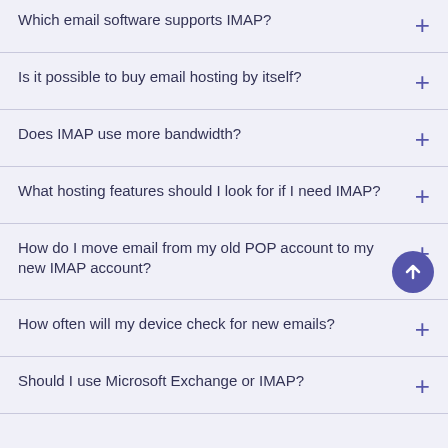Which email software supports IMAP?
Is it possible to buy email hosting by itself?
Does IMAP use more bandwidth?
What hosting features should I look for if I need IMAP?
How do I move email from my old POP account to my new IMAP account?
How often will my device check for new emails?
Should I use Microsoft Exchange or IMAP?